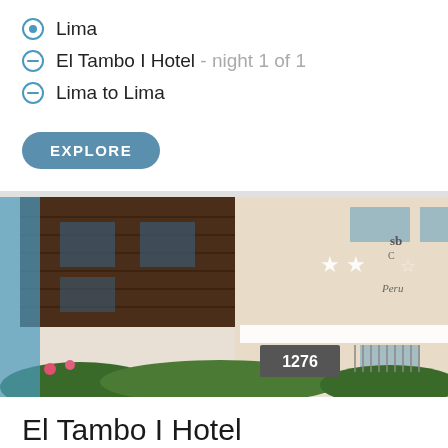Lima
El Tambo I Hotel - night 1 of 1
Lima to Lima
EXPLORE
[Figure (photo): Exterior photo of El Tambo I Hotel building, a multi-story building with dark wood cladding on one section and light beige concrete on the other, featuring star rating signs on the facade and address number 1276.]
El Tambo I Hotel
1:00 pm check-in